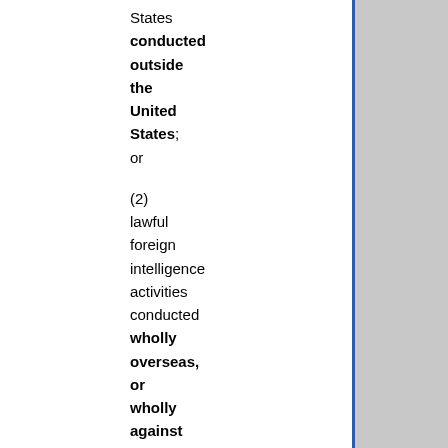States conducted outside the United States; or

(2) lawful foreign intelligence activities conducted wholly overseas, or wholly against non-United States citizens."